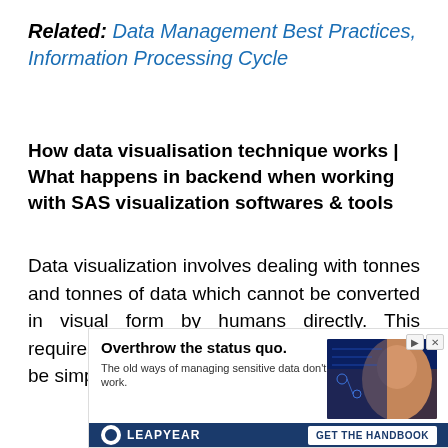Related: Data Management Best Practices, Information Processing Cycle
How data visualisation technique works | What happens in backend when working with SAS visualization softwares & tools
Data visualization involves dealing with tonnes and tonnes of data which cannot be converted in visual form by humans directly. This requires use of softwares and tools, these can be simple tools serving multiple purpose such
[Figure (infographic): Advertisement banner for Leapyear featuring bold headline 'Overthrow the status quo.', subtext 'The old ways of managing sensitive data don't work.', an image of a person with tech/circuit overlay, Leapyear logo, and a 'GET THE HANDBOOK' CTA button.]